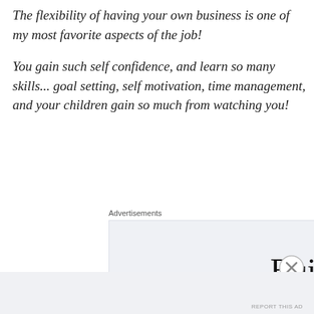The flexibility of having your own business is one of my most favorite aspects of the job!
You gain such self confidence, and learn so many skills... goal setting, self motivation, time management, and your children gain so much from watching you!
Advertisements
[Figure (other): Advertisement banner showing text 'Build a writing']
Advertisements